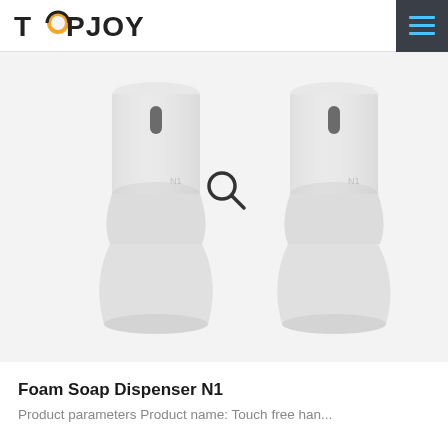TOPJOY
[Figure (photo): Two white foam soap dispensers (model N1) side by side against a light gray background, with a search/zoom icon in the center between them. The dispensers are touchless/automatic, with a modern cylindrical hourglass shape and a dark sensor window near the top.]
Foam Soap Dispenser N1
Product parameters Product name: Touch free han...